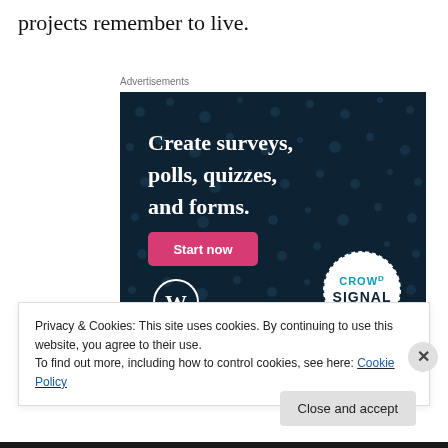projects remember to live.
Advertisements
[Figure (illustration): Crowdsignal advertisement banner with dark navy background and dot pattern. Text reads 'Create surveys, polls, quizzes, and forms.' with a pink 'Start now' button. WordPress logo bottom left and Crowdsignal circular logo bottom right.]
Privacy & Cookies: This site uses cookies. By continuing to use this website, you agree to their use.
To find out more, including how to control cookies, see here: Cookie Policy
Close and accept